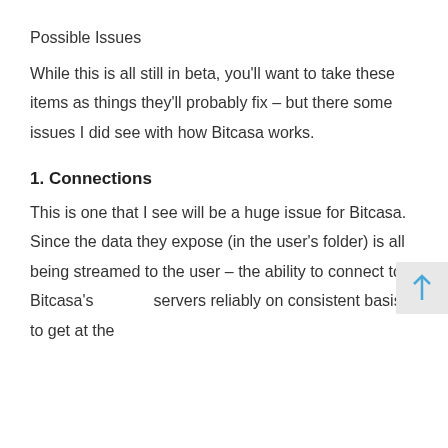Possible Issues
While this is all still in beta, you'll want to take these items as things they'll probably fix – but there some issues I did see with how Bitcasa works.
1. Connections
This is one that I see will be a huge issue for Bitcasa. Since the data they expose (in the user's folder) is all being streamed to the user – the ability to connect to Bitcasa's servers reliably on consistent basis to get at the data is going to be essential. Bitcasa needs to